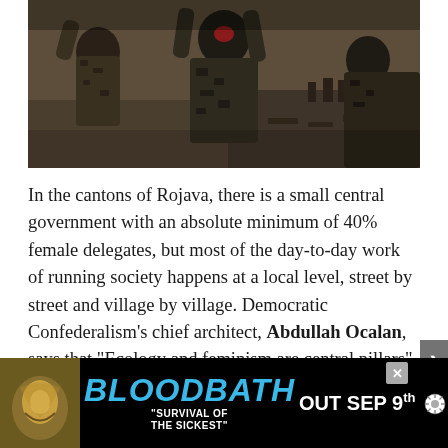[Figure (photo): Three people in camouflage military uniforms viewed from behind, arms raised, looking out over a landscape. Dark, moody photography.]
In the cantons of Rojava, there is a small central government with an absolute minimum of 40% female delegates, but most of the day-to-day work of running society happens at a local level, street by street and village by village. Democratic Confederalism's chief architect, Abdullah Ocalan, says that “Ecology and feminism are central pillars” of the system he has spearheaded, something that you would have to go very far to the margins to hear from Western politicians. In Rojava, men who beat their wives face total ostracism from t… …ocial, conne… …police
[Figure (screenshot): Advertisement banner: BLOODBATH 'Survival of the Sickest' OUT SEP 9th, with a yellow-toned album art image on the left and a snowflake/sun icon on the right. Blue bold italic text on black background.]